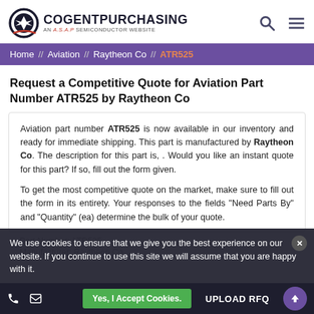[Figure (logo): CogentPurchasing logo - circular aviation icon with AN A.S.A.P Semiconductor Website tagline]
Home // Aviation // Raytheon Co // ATR525
Request a Competitive Quote for Aviation Part Number ATR525 by Raytheon Co
Aviation part number ATR525 is now available in our inventory and ready for immediate shipping. This part is manufactured by Raytheon Co. The description for this part is, . Would you like an instant quote for this part? If so, fill out the form given.
To get the most competitive quote on the market, make sure to fill out the form in its entirety. Your responses to the fields "Need Parts By" and "Quantity" (ea) determine the bulk of your quote.
We use cookies to ensure that we give you the best experience on our website. If you continue to use this site we will assume that you are happy with it.
Manufacturer: Raytheon Co